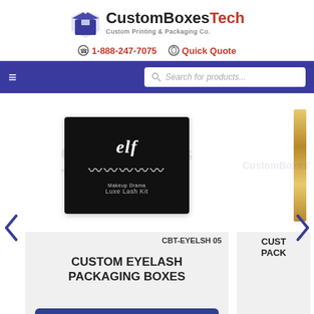[Figure (logo): CustomBoxesTech logo with blue box icon, bold text 'Custom Boxes Tech' and tagline 'Custom Printing & Packaging Co.']
1-888-247-7075   Quick Quote
[Figure (screenshot): Navigation bar with hamburger menu and search box 'Search for products...']
[Figure (photo): Product carousel showing elf Makeup Drama Luxe Lash Kit in black packaging, product code CBT-EYELSH 05]
CBT-EYELSH 05
CUSTOM EYELASH PACKAGING BOXES
Get Custom Quote
CUST PACK
Get C